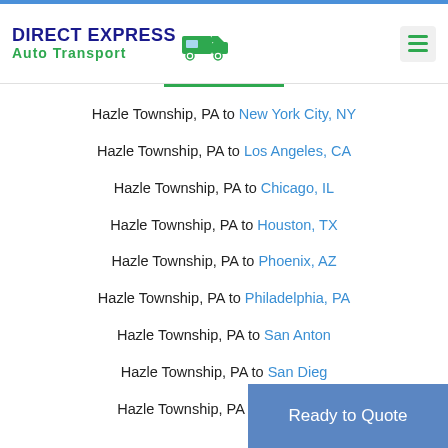[Figure (logo): Direct Express Auto Transport logo with truck icon]
Hazle Township, PA to New York City, NY
Hazle Township, PA to Los Angeles, CA
Hazle Township, PA to Chicago, IL
Hazle Township, PA to Houston, TX
Hazle Township, PA to Phoenix, AZ
Hazle Township, PA to Philadelphia, PA
Hazle Township, PA to San Antonio
Hazle Township, PA to San Diego
Hazle Township, PA to Dallas, TX